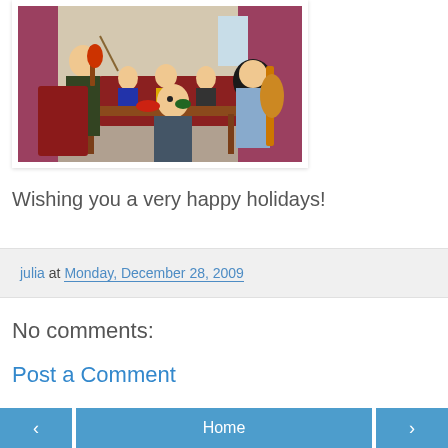[Figure (photo): People playing string instruments (violin and cello) in a living room setting with curtains and audience seated in background]
Wishing you a very happy holidays!
julia at Monday, December 28, 2009
No comments:
Post a Comment
‹  Home  ›